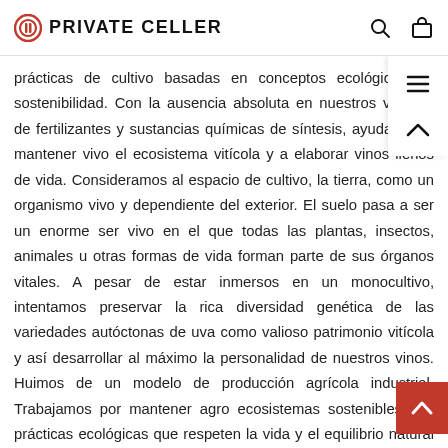PRIVATE CELLER
prácticas de cultivo basadas en conceptos ecológicos de sostenibilidad. Con la ausencia absoluta en nuestros viñedos de fertilizantes y sustancias químicas de síntesis, ayudamos a mantener vivo el ecosistema vitícola y a elaborar vinos llenos de vida. Consideramos al espacio de cultivo, la tierra, como un organismo vivo y dependiente del exterior. El suelo pasa a ser un enorme ser vivo en el que todas las plantas, insectos, animales u otras formas de vida forman parte de sus órganos vitales. A pesar de estar inmersos en un monocultivo, intentamos preservar la rica diversidad genética de las variedades autóctonas de uva como valioso patrimonio vitícola y así desarrollar al máximo la personalidad de nuestros vinos. Huimos de un modelo de producción agrícola industrial. Trabajamos por mantener agro ecosistemas sostenibles con prácticas ecológicas que respeten la vida y el equilibrio natural del viñedo y el de